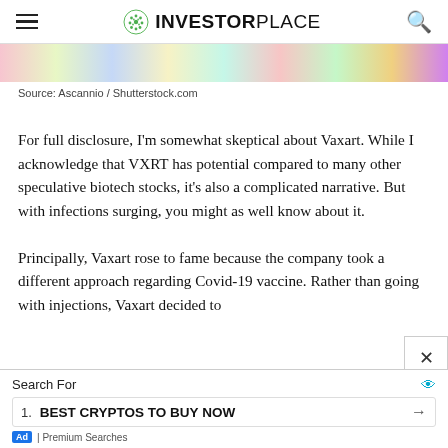INVESTORPLACE
[Figure (photo): Colorful pills/capsules photo strip, source: Ascannio / Shutterstock.com]
Source: Ascannio / Shutterstock.com
For full disclosure, I'm somewhat skeptical about Vaxart. While I acknowledge that VXRT has potential compared to many other speculative biotech stocks, it's also a complicated narrative. But with infections surging, you might as well know about it.
Principally, Vaxart rose to fame because the company took a different approach regarding Covid-19 vaccine. Rather than going with injections, Vaxart decided to
Search For
1. BEST CRYPTOS TO BUY NOW
Ad | Premium Searches